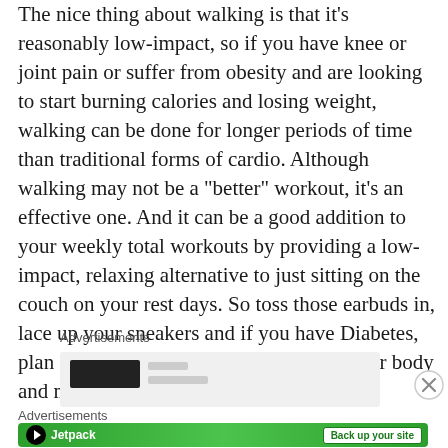The nice thing about walking is that it's reasonably low-impact, so if you have knee or joint pain or suffer from obesity and are looking to start burning calories and losing weight, walking can be done for longer periods of time than traditional forms of cardio. Although walking may not be a "better" workout, it's an effective one. And it can be a good addition to your weekly total workouts by providing a low-impact, relaxing alternative to just sitting on the couch on your rest days. So toss those earbuds in, lace up your sneakers and if you have Diabetes, plan ahead for lows and hit the streets. Your body and mind will thank you. 🔗
Advertisements
[Figure (other): Advertisement placeholder box with partial content visible (dark rectangle)]
[Figure (other): Close/dismiss button (X in circle)]
Advertisements
[Figure (other): Jetpack advertisement banner with green background, Jetpack logo on left and 'Back up your site' button on right]